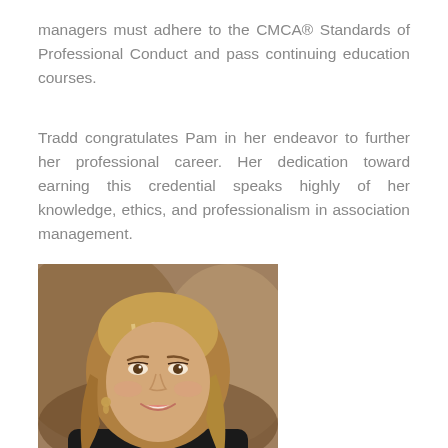managers must adhere to the CMCA® Standards of Professional Conduct and pass continuing education courses.
Tradd congratulates Pam in her endeavor to further her professional career. Her dedication toward earning this credential speaks highly of her knowledge, ethics, and professionalism in association management.
[Figure (photo): Professional headshot of a young woman with long blonde/brown highlighted hair, wearing a black top, smiling, against a blurred brownish-gray studio background.]